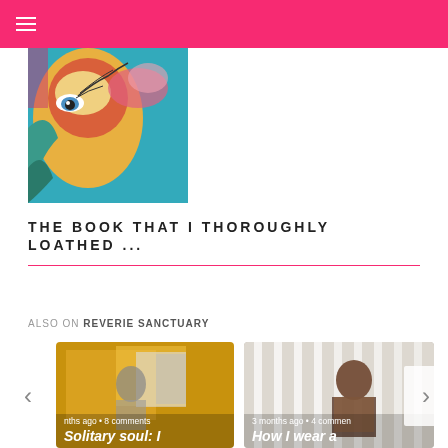≡
[Figure (illustration): Colorful artistic illustration showing a face with stylized eyes and decorative elements in teal, orange, and pink tones]
THE BOOK THAT I THOROUGHLY LOATHED ...
ALSO ON REVERIE SANCTUARY
[Figure (photo): Card 1: Photo with orange/yellow background showing a person. Caption: 'nths ago • 8 comments' and title 'Solitary soul: I']
[Figure (photo): Card 2: Photo showing a person in a patterned top against a white slatted background. Caption: '3 months ago • 4 commen' and title 'How I wear a']